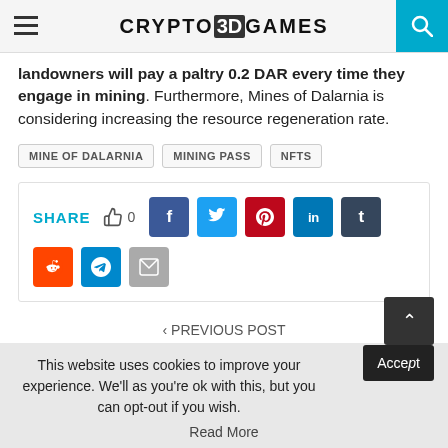Crypto3DGames
landowners will pay a paltry 0.2 DAR every time they engage in mining. Furthermore, Mines of Dalarnia is considering increasing the resource regeneration rate.
MINE OF DALARNIA
MINING PASS
NFTS
SHARE 0 [social share buttons: Facebook, Twitter, Pinterest, LinkedIn, Tumblr, Reddit, Telegram, Email]
< PREVIOUS POST
This website uses cookies to improve your experience. We'll as you're ok with this, but you can opt-out if you wish. Accept Read More